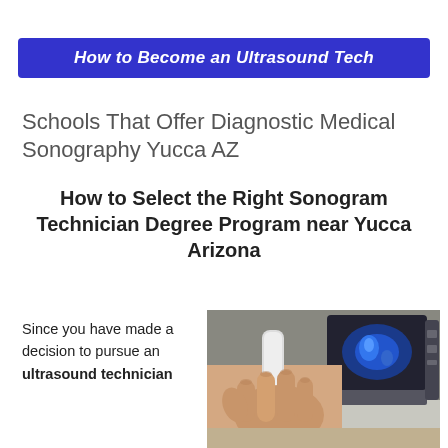How to Become an Ultrasound Tech
Schools That Offer Diagnostic Medical Sonography Yucca AZ
How to Select the Right Sonogram Technician Degree Program near Yucca Arizona
Since you have made a decision to pursue an ultrasound technician
[Figure (photo): Hands holding an ultrasound probe against a patient, with an ultrasound monitor screen visible in the background showing a blue scan image]